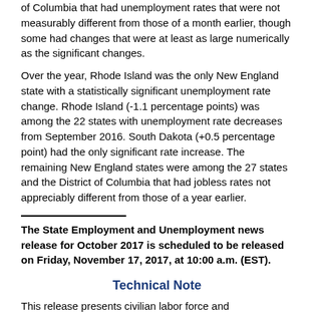of Columbia that had unemployment rates that were not measurably different from those of a month earlier, though some had changes that were at least as large numerically as the significant changes.
Over the year, Rhode Island was the only New England state with a statistically significant unemployment rate change. Rhode Island (-1.1 percentage points) was among the 22 states with unemployment rate decreases from September 2016. South Dakota (+0.5 percentage point) had the only significant rate increase. The remaining New England states were among the 27 states and the District of Columbia that had jobless rates not appreciably different from those of a year earlier.
The State Employment and Unemployment news release for October 2017 is scheduled to be released on Friday, November 17, 2017, at 10:00 a.m. (EST).
Technical Note
This release presents civilian labor force and unemployment data from the Current Population Survey (CPS) and the Local Area Unemployment Statistics (LAUS) program. Estimates for the U.S. are obtained directly from the CPS, which is a sample survey of approximately 60,000 households nationwide that is conducted for the Bureau of Labor